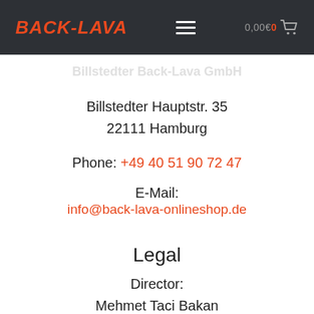BACK-LAVA  ≡  0,00€ 0 🛒
Billstedter Back-Lava GmbH
Billstedter Hauptstr. 35
22111 Hamburg
Phone: +49 40 51 90 72 47
E-Mail:
info@back-lava-onlineshop.de
Legal
Director:
Mehmet Taci Bakan